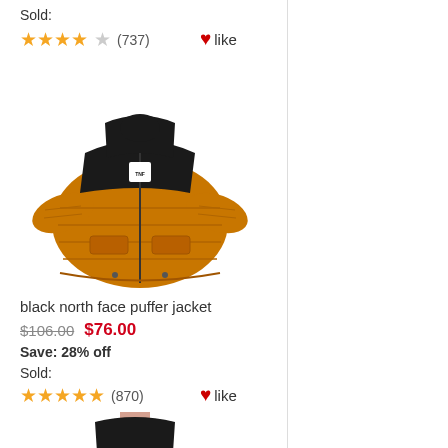Sold:
★★★★☆ (737) ♥like
[Figure (photo): Orange and black North Face puffer jacket product photo]
black north face puffer jacket
$106.00  $76.00
Save: 28% off
Sold:
★★★★★ (870) ♥like
[Figure (photo): Purple and black North Face puffer jacket worn by a person, product photo]